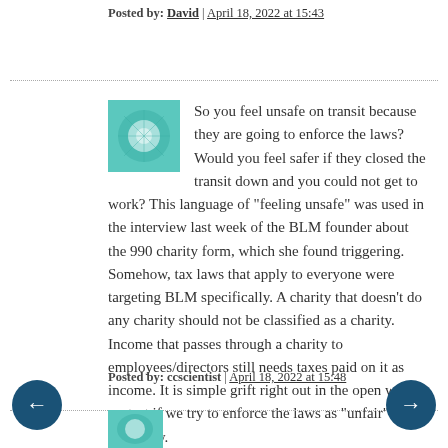Posted by: David | April 18, 2022 at 15:43
So you feel unsafe on transit because they are going to enforce the laws? Would you feel safer if they closed the transit down and you could not get to work? This language of "feeling unsafe" was used in the interview last week of the BLM founder about the 990 charity form, which she found triggering. Somehow, tax laws that apply to everyone were targeting BLM specifically. A charity that doesn't do any charity should not be classified as a charity. Income that passes through a charity to employees/directors still needs taxes paid on it as income. It is simple grift right out in the open with a protest if we try to enforce the laws as "unfair" somehow.
Posted by: ccscientist | April 18, 2022 at 15:48